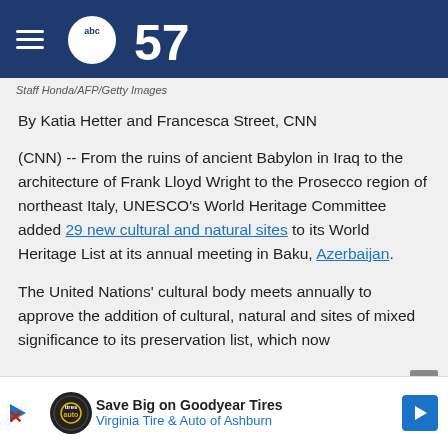[Figure (logo): ABC57 news logo on dark blue header bar with hamburger menu icon]
Staff Honda/AFP/Getty Images
By Katia Hetter and Francesca Street, CNN
(CNN) -- From the ruins of ancient Babylon in Iraq to the architecture of Frank Lloyd Wright to the Prosecco region of northeast Italy, UNESCO's World Heritage Committee added 29 new cultural and natural sites to its World Heritage List at its annual meeting in Baku, Azerbaijan.
The United Nations' cultural body meets annually to approve the addition of cultural, natural and sites of mixed significance to its preservation list, which now
[Figure (other): Advertisement banner: Save Big on Goodyear Tires - Virginia Tire & Auto of Ashburn]